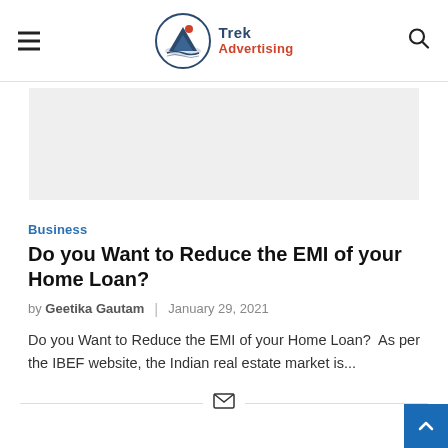Trek Advertising
[Figure (other): Gray advertisement banner placeholder]
Business
Do you Want to Reduce the EMI of your Home Loan?
by Geetika Gautam | January 29, 2021
Do you Want to Reduce the EMI of your Home Loan?  As per the IBEF website, the Indian real estate market is...